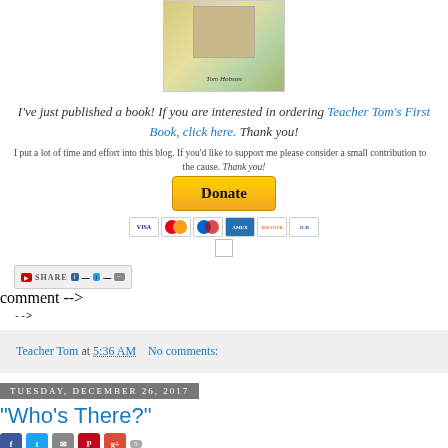[Figure (illustration): Book cover for Teacher Tom's First Book by Tom Hobson, with decorative background and photo]
I've just published a book! If you are interested in ordering Teacher Tom's First Book, click here. Thank you!
I put a lot of time and effort into this blog. If you'd like to support me please consider a small contribution to the cause. Thank you!
[Figure (other): PayPal Donate button with payment card icons (VISA, Mastercard, Maestro, AMEX, Discover, JCB)]
-->
Teacher Tom at 5:36 AM   No comments:
Tuesday, December 26, 2017
"Who's There?"